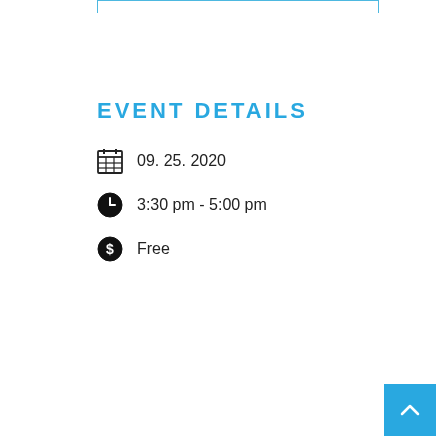EVENT DETAILS
09. 25. 2020
3:30 pm - 5:00 pm
Free